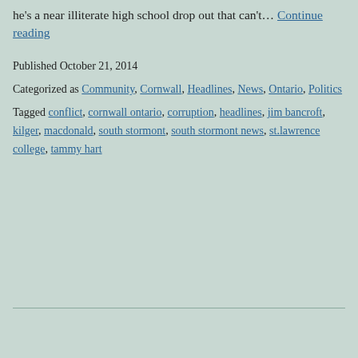he's a near illiterate high school drop out that can't… Continue reading
Published October 21, 2014
Categorized as Community, Cornwall, Headlines, News, Ontario, Politics
Tagged conflict, cornwall ontario, corruption, headlines, jim bancroft, kilger, macdonald, south stormont, south stormont news, st.lawrence college, tammy hart